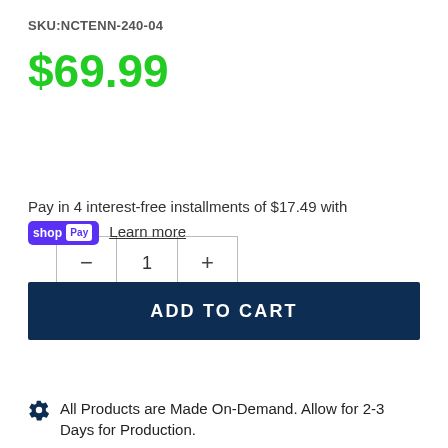SKU:NCTENN-240-04
$69.99
Pay in 4 interest-free installments of $17.49 with shop Pay Learn more
ADD TO CART
All Products are Made On-Demand. Allow for 2-3 Days for Production.